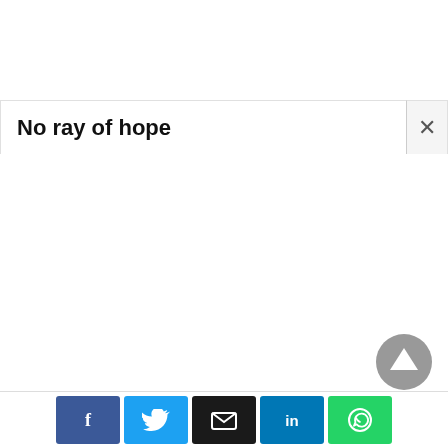No ray of hope
[Figure (other): Scroll-to-top button, gray circle with upward triangle arrow]
[Figure (infographic): Social share bar with Facebook, Twitter, Email, LinkedIn, WhatsApp buttons]